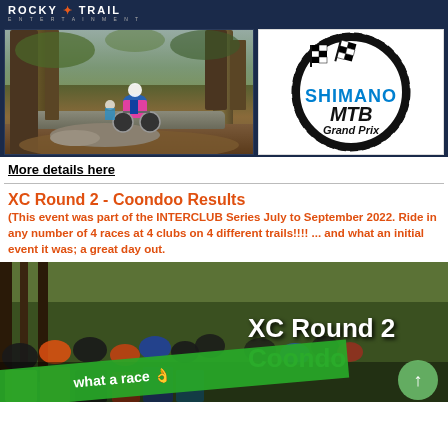ROCKY TRAIL ENTERTAINMENT
[Figure (photo): Mountain biker riding through forest trail]
[Figure (logo): Shimano MTB Grand Prix logo with checkered flags]
More details here
XC Round 2 - Coondoo Results
(This event was part of the INTERCLUB Series July to September 2022.  Ride in any number of 4 races at 4 clubs on 4 different trails!!!! ... and what an initial event it was; a great day out.
[Figure (photo): Crowd of mountain bike riders at race start, with XC Round 2 Coondoo overlay text and green banner saying 'what a race']